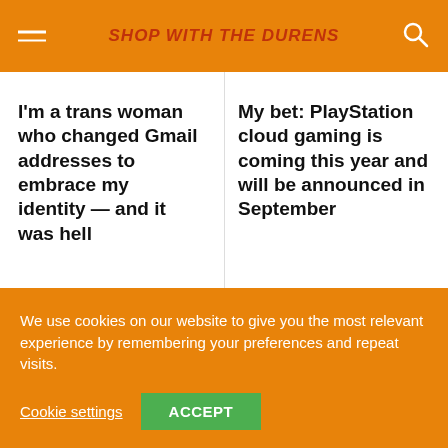SHOP WITH THE DURENS
I'm a trans woman who changed Gmail addresses to embrace my identity — and it was hell
My bet: PlayStation cloud gaming is coming this year and will be announced in September
We use cookies on our website to give you the most relevant experience by remembering your preferences and repeat visits.
Cookie settings
ACCEPT